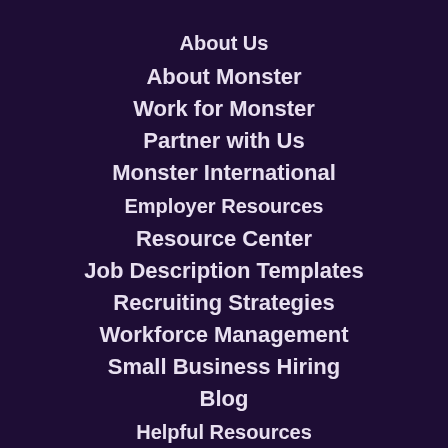About Us
About Monster
Work for Monster
Partner with Us
Monster International
Employer Resources
Resource Center
Job Description Templates
Recruiting Strategies
Workforce Management
Small Business Hiring
Blog
Helpful Resources